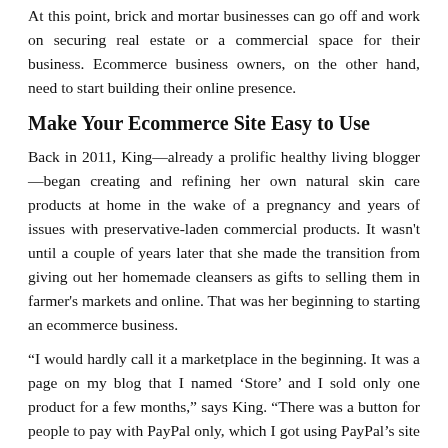At this point, brick and mortar businesses can go off and work on securing real estate or a commercial space for their business. Ecommerce business owners, on the other hand, need to start building their online presence.
Make Your Ecommerce Site Easy to Use
Back in 2011, King—already a prolific healthy living blogger—began creating and refining her own natural skin care products at home in the wake of a pregnancy and years of issues with preservative-laden commercial products. It wasn't until a couple of years later that she made the transition from giving out her homemade cleansers as gifts to selling them in farmer's markets and online. That was her beginning to starting an ecommerce business.
“I would hardly call it a marketplace in the beginning. It was a page on my blog that I named ‘Store’ and I sold only one product for a few months,” says King. “There was a button for people to pay with PayPal only, which I got using PayPal’s site and copy-pasted onto my WordPress blog.”
Although she admits she actually test to most of the content of the process of